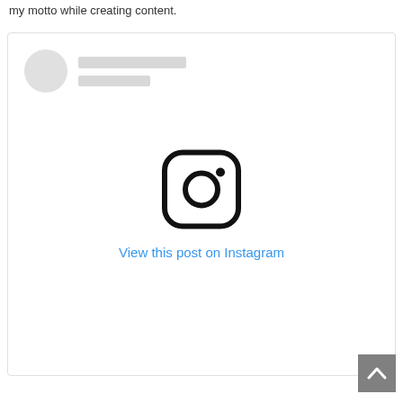my motto while creating content.
[Figure (screenshot): An embedded Instagram post placeholder showing a circular avatar placeholder, name lines, the Instagram camera logo in the center, and a blue 'View this post on Instagram' link.]
View this post on Instagram